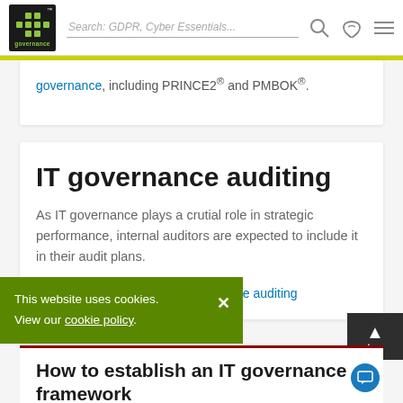Search: GDPR, Cyber Essentials...
governance, including PRINCE2® and PMBOK®.
IT governance auditing
As IT governance plays a crutial role in strategic performance, internal auditors are expected to include it in their audit plans.
Learn more about IT governance auditing
This website uses cookies. View our cookie policy.
How to establish an IT governance framework